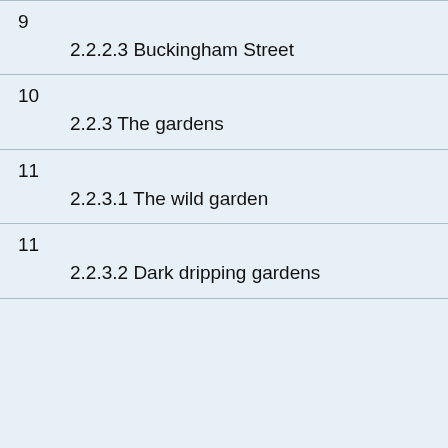9
    2.2.2.3 Buckingham Street
10
    2.2.3 The gardens
11
    2.2.3.1 The wild garden
11
    2.2.3.2 Dark dripping gardens